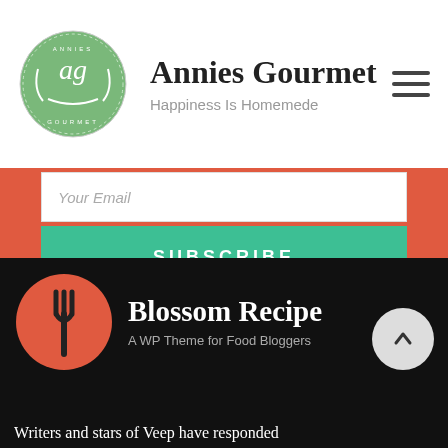Annies Gourmet — Happiness Is Homemede
Your Email
SUBSCRIBE
SUBSCRIBE
[Figure (logo): Blossom Recipe — A WP Theme for Food Bloggers logo with fork icon on red circle]
Writers and stars of Veep have responded